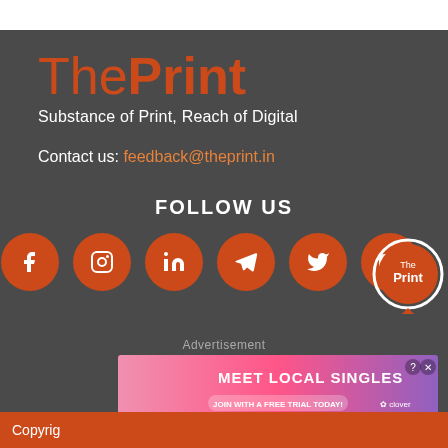ThePrint
Substance of Print, Reach of Digital
Contact us: feedback@theprint.in
FOLLOW US
[Figure (logo): Social media icons: Facebook, Instagram, LinkedIn, Telegram, Twitter, YouTube — orange circles with white icons. ThePrint badge circle on right.]
Advertisement
[Figure (photo): Meet Local Singles advertisement banner with woman and Clover dating app branding]
Copyright